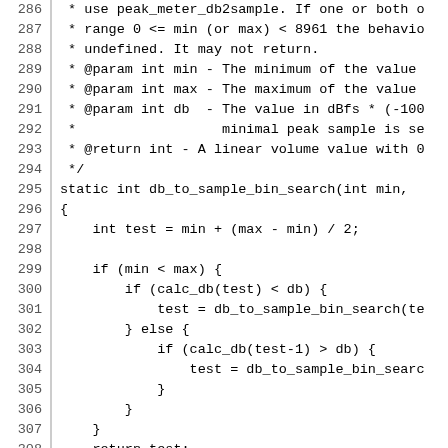Source code listing lines 286-315 showing db_to_sample_bin_search function and start of comment block